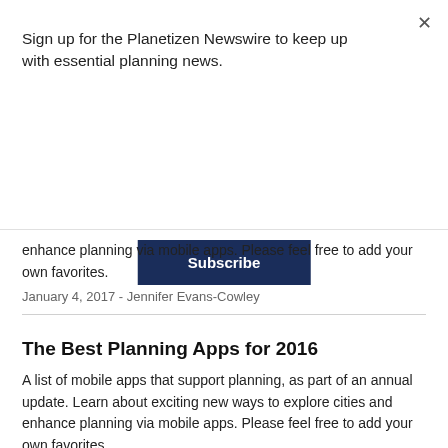Sign up for the Planetizen Newswire to keep up with essential planning news.
Subscribe
enhance planning via mobile apps. Please feel free to add your own favorites.
January 4, 2017 - Jennifer Evans-Cowley
The Best Planning Apps for 2016
A list of mobile apps that support planning, as part of an annual update. Learn about exciting new ways to explore cities and enhance planning via mobile apps. Please feel free to add your own favorites.
January 4, 2016 - Jennifer Evans-Cowley